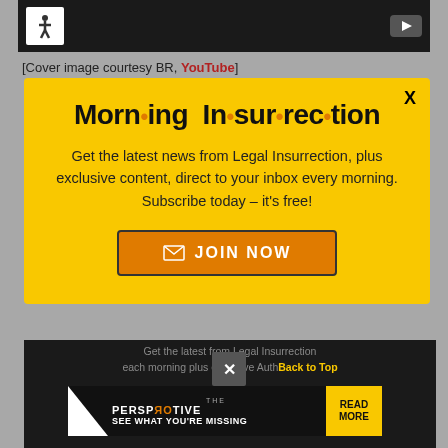[Figure (screenshot): Black video player bar with accessibility icon and YouTube play button]
[Cover image courtesy BR, YouTube]
[Figure (infographic): Yellow modal popup for Morning Insurrection newsletter signup with JOIN NOW button and X close button]
[Figure (screenshot): Dark bottom bar with 'Get the latest from Legal Insurrection each morning plus exclusive Author' text and 'Back to Top' link, close X overlay, and The Perspective ad banner reading 'SEE WHAT YOU'RE MISSING / READ MORE']